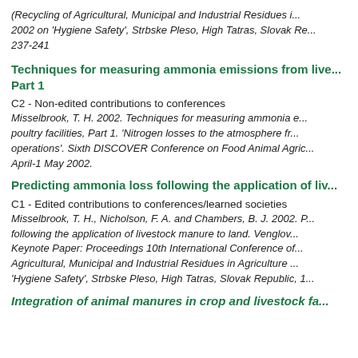(Recycling of Agricultural, Municipal and Industrial Residues i... 2002 on 'Hygiene Safety', Strbske Pleso, High Tatras, Slovak Re... 237-241
Techniques for measuring ammonia emissions from live... Part 1
C2 - Non-edited contributions to conferences
Misselbrook, T. H. 2002. Techniques for measuring ammonia e... poultry facilities, Part 1. 'Nitrogen losses to the atmosphere fr... operations'. Sixth DISCOVER Conference on Food Animal Agric... April-1 May 2002.
Predicting ammonia loss following the application of liv...
C1 - Edited contributions to conferences/learned societies
Misselbrook, T. H., Nicholson, F. A. and Chambers, B. J. 2002. P... following the application of livestock manure to land. Venglov... Keynote Paper: Proceedings 10th International Conference of... Agricultural, Municipal and Industrial Residues in Agriculture ... 'Hygiene Safety', Strbske Pleso, High Tatras, Slovak Republic, 1...
Integration of animal manures in crop and livestock fa...